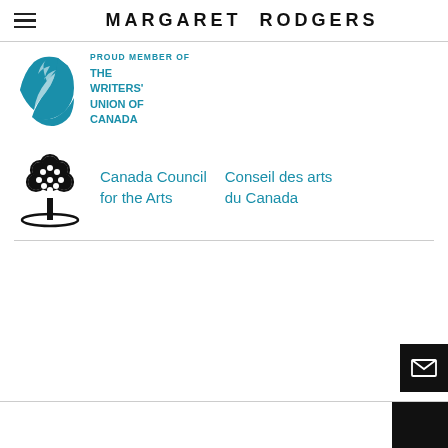MARGARET RODGERS
[Figure (logo): PROUD MEMBER OF / THE WRITERS' UNION OF CANADA logo with teal book and feather]
[Figure (logo): Canada Council for the Arts / Conseil des arts du Canada logo with black tree]
[Figure (other): Black mail/envelope button in bottom right corner]